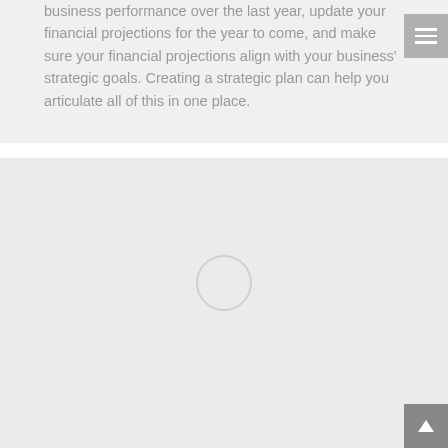business performance over the last year, update your financial projections for the year to come, and make sure your financial projections align with your business' strategic goals. Creating a strategic plan can help you articulate all of this in one place.
[Figure (other): A large light gray placeholder box with a loading spinner circle in the center, representing an image or embedded content area that is loading.]